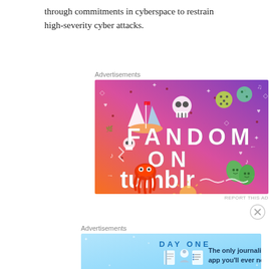through commitments in cyberspace to restrain high-severity cyber attacks.
[Figure (other): Tumblr advertisement: colorful gradient background from orange to purple with doodle icons (sailboat, skull, dice, octopus, leaves) and text 'FANDOM ON tumblr']
[Figure (other): Day One journaling app advertisement: light blue background with 'DAY ONE' logo and text 'The only journaling app you'll ever need.']